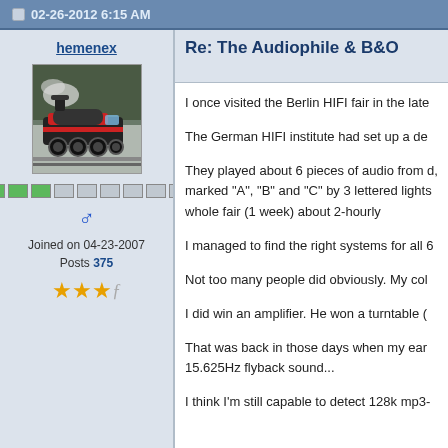02-26-2012 6:15 AM
hemenex
[Figure (photo): Profile avatar showing a red and black steam locomotive on a forest track]
Joined on 04-23-2007
Posts 375
Re: The Audiophile & B&O
I once visited the Berlin HIFI fair in the late
The German HIFI institute had set up a de
They played about 6 pieces of audio from d, marked "A", "B" and "C" by 3 lettered lights, whole fair (1 week) about 2-hourly
I managed to find the right systems for all 6
Not too many people did obviously. My col
I did win an amplifier. He won a turntable (
That was back in those days when my ears, 15.625Hz flyback sound...
I think I'm still capable to detect 128k mp3-